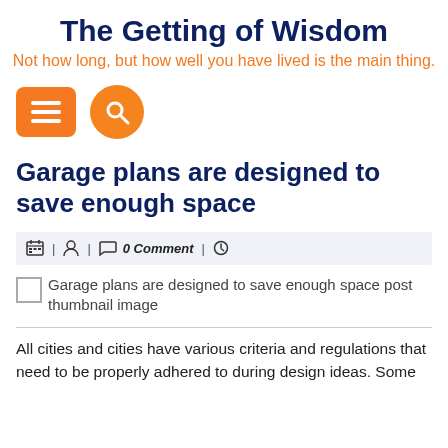The Getting of Wisdom
Not how long, but how well you have lived is the main thing.
[Figure (screenshot): Navigation icons: orange rounded-rectangle menu button with three horizontal lines, and orange circle search button with magnifying glass icon]
Garage plans are designed to save enough space
📅 | 👤 | 💬 0 Comment | 🕐
[Figure (photo): Broken/placeholder image icon followed by alt text: Garage plans are designed to save enough space post thumbnail image]
All cities and cities have various criteria and regulations that need to be properly adhered to during design ideas. Some